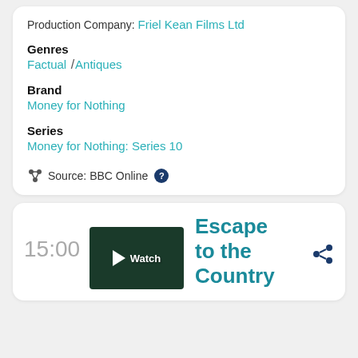Production Company: Friel Kean Films Ltd
Genres
Factual / Antiques
Brand
Money for Nothing
Series
Money for Nothing: Series 10
Source: BBC Online
15:00
[Figure (screenshot): Thumbnail image of a property/garden scene with a play button overlay and 'Watch' text]
Escape to the Country